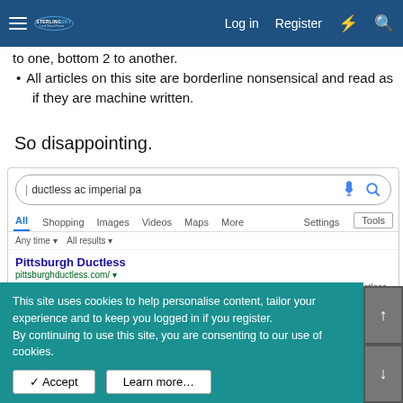Sterling Sky Local Search Forum — Log in | Register
to one, bottom 2 to another.
All articles on this site are borderline nonsensical and read as if they are machine written.
So disappointing.
[Figure (screenshot): Google search results page for 'ductless ac imperial pa', showing Pittsburgh Ductless as the first result with URL pittsburghductless.com and snippet about matching ductless air conditioners and heat pumps. Partial second result visible at bottom.]
This site uses cookies to help personalise content, tailor your experience and to keep you logged in if you register.
By continuing to use this site, you are consenting to our use of cookies.